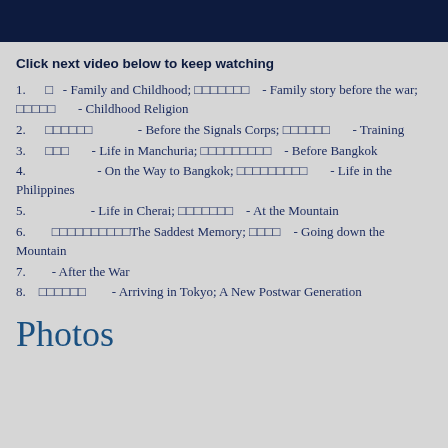[Figure (other): Dark navy blue header bar at the top of the page]
Click next video below to keep watching
1. □ - Family and Childhood; □□□□□□□ - Family story before the war; □□□□□ - Childhood Religion
2. □□□□□□ - Before the Signals Corps; □□□□□□ - Training
3. □□□ - Life in Manchuria; □□□□□□□□□ - Before Bangkok
4. - On the Way to Bangkok; □□□□□□□□□ - Life in the Philippines
5. - Life in Cherai; □□□□□□□ - At the Mountain
6. □□□□□□□□□□The Saddest Memory; □□□□ - Going down the Mountain
7. - After the War
8. □□□□□□ - Arriving in Tokyo; A New Postwar Generation
Photos